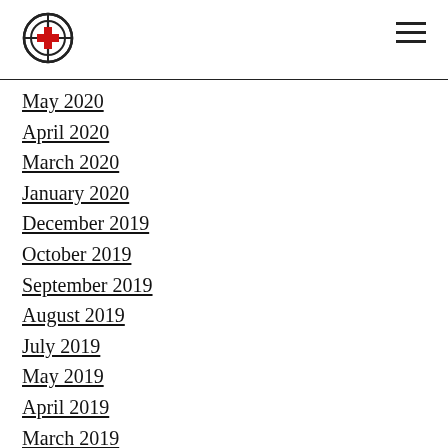[Logo] [Navigation menu icon]
May 2020
April 2020
March 2020
January 2020
December 2019
October 2019
September 2019
August 2019
July 2019
May 2019
April 2019
March 2019
January 2019
December 2018
November 2018
October 2018